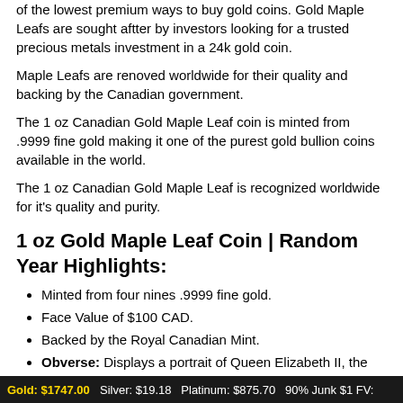of the lowest premium ways to buy gold coins. Gold Maple Leafs are sought aftter by investors looking for a trusted precious metals investment in a 24k gold coin.
Maple Leafs are renoved worldwide for their quality and backing by the Canadian government.
The 1 oz Canadian Gold Maple Leaf coin is minted from .9999 fine gold making it one of the purest gold bullion coins available in the world.
The 1 oz Canadian Gold Maple Leaf is recognized worldwide for it's quality and purity.
1 oz Gold Maple Leaf Coin | Random Year Highlights:
Minted from four nines .9999 fine gold.
Face Value of $100 CAD.
Backed by the Royal Canadian Mint.
Obverse: Displays a portrait of Queen Elizabeth II, the longest reigning monarch of the United Kingdom
Reverse: Features a stylized portrait of a sugar maple leaf,
Gold: $1747.00  Silver: $19.18  Platinum: $875.70  90% Junk $1 FV: